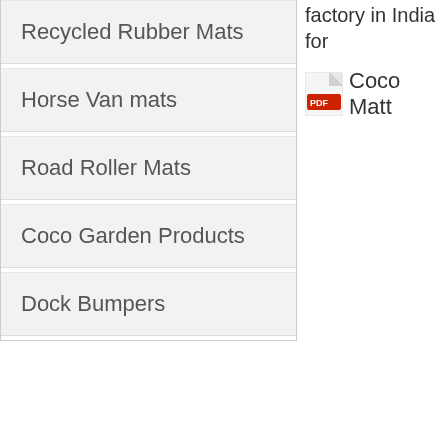Recycled Rubber Mats
Horse Van mats
Road Roller Mats
Coco Garden Products
Dock Bumpers
factory in India for
Coco Matt
Home | About Us | Products | Gallery | Services | Contact Us | S
Entrance Mats | Coir Mats | Coco Mats | Welcome Mats | Recessed B | Door Mats | Personalized Door Mats | Personalized Coco Mats | Pe | Printed Natural Coco Mats | Horse Van Mats | Road Roller Mats | Recycled Tire